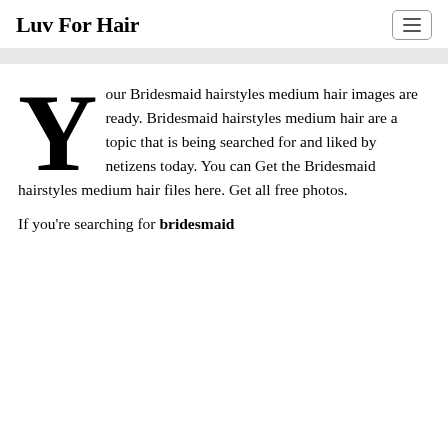Luv For Hair
Your Bridesmaid hairstyles medium hair images are ready. Bridesmaid hairstyles medium hair are a topic that is being searched for and liked by netizens today. You can Get the Bridesmaid hairstyles medium hair files here. Get all free photos.
If you're searching for bridesmaid